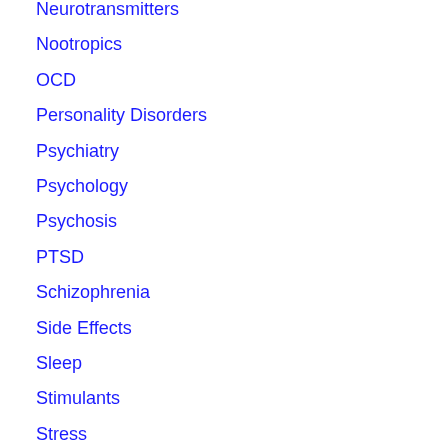Neurotransmitters
Nootropics
OCD
Personality Disorders
Psychiatry
Psychology
Psychosis
PTSD
Schizophrenia
Side Effects
Sleep
Stimulants
Stress
Suicide
Supplements